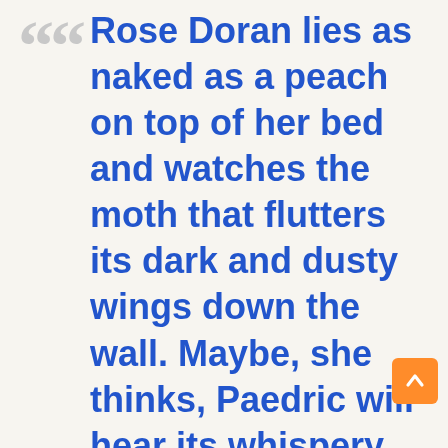Rose Doran lies as naked as a peach on top of her bed and watches the moth that flutters its dark and dusty wings down the wall. Maybe, she thinks, Paedric will hear its whispery strumming between her room and his and think of her before he sleeps. She closes her eyes and imagines the moth's lips brushing like velvet along